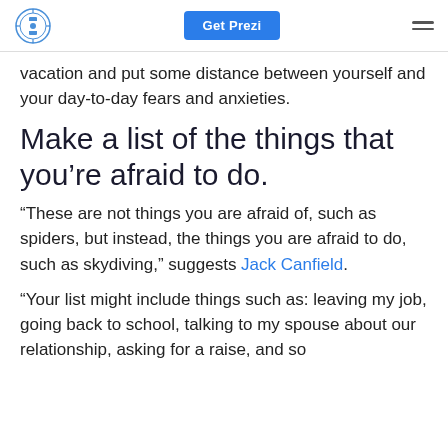Prezi logo | Get Prezi | Menu
vacation and put some distance between yourself and your day-to-day fears and anxieties.
Make a list of the things that you're afraid to do.
“These are not things you are afraid of, such as spiders, but instead, the things you are afraid to do, such as skydiving,” suggests Jack Canfield.
“Your list might include things such as: leaving my job, going back to school, talking to my spouse about our relationship, asking for a raise, and so